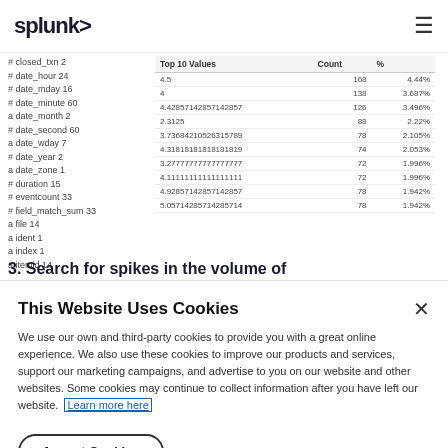splunk> ☰
# closed_txn 2
# date_hour 24
# date_mday 16
# date_minute 60
a date_month 2
# date_second 60
a date_wday 7
# date_year 2
a date_zone 1
# duration 15
# eventcount 33
# field_match_sum 33
a file 14
a ident 1
a index 1
a itemid 14
| Top 10 Values | Count | % |
| --- | --- | --- |
| 4.5 | 168 | 4.44% |
| 4 | 138 | 3.687% |
| 4.42857142857142857 | 126 | 3.496% |
| 2.3125 | 88 | 2.22% |
| 3.73684210526315789 | 78 | 2.105% |
| 4.31818181818181819 | 74 | 2.053% |
| 3.27777777777777777 | 72 | 1.996% |
| 4.11111111111111111 | 72 | 1.996% |
| 4.92857142857142857 | 78 | 1.942% |
| 5.05714285714285714 | 78 | 1.942% |
3. Search for spikes in the volume of errors
This Website Uses Cookies
We use our own and third-party cookies to provide you with a great online experience. We also use these cookies to improve our products and services, support our marketing campaigns, and advertise to you on our website and other websites. Some cookies may continue to collect information after you have left our website.
Learn more here
Accept Cookies
Cookies Settings ›